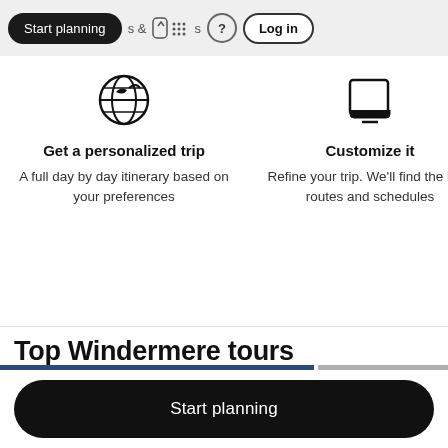Start planning  & Activities  ? Log in
[Figure (illustration): Globe icon with travel symbol]
Get a personalized trip
A full day by day itinerary based on your preferences
[Figure (illustration): Clipboard/notes icon]
Customize it
Refine your trip. We'll find the best routes and schedules
Top Windermere tours
Start planning